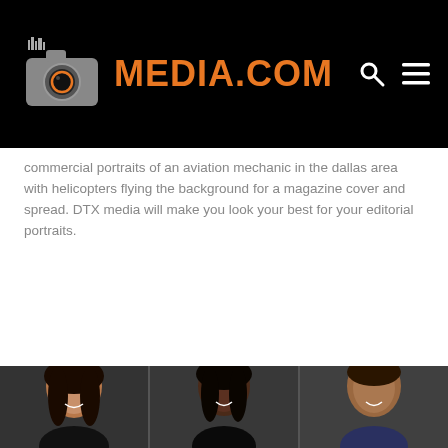[Figure (logo): DTX Media.com logo with camera icon on black header bar, search and menu icons top right]
commercial portraits of an aviation mechanic in the dallas area with helicopters flying the background for a magazine cover and spread. DTX media will make you look your best for your editorial portraits.
[Figure (photo): Three portrait photos side by side: Asian woman smiling, Black woman smiling, Hispanic man smiling, all on dark background]